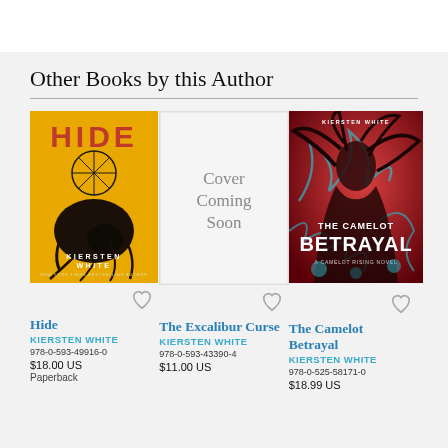Other Books by this Author
[Figure (illustration): Book cover for 'Hide' by Kiersten White — yellow/orange background with dark abstract figure and ferris wheel motif, red title text 'HIDE']
[Figure (illustration): Placeholder cover saying 'Cover Coming Soon' on light grey/white background]
[Figure (illustration): Book cover for 'The Camelot Betrayal' by Kiersten White — dark red fantasy cover with female figure and teal decorative elements]
Hide
KIERSTEN WHITE
978-0-593-49916-0
$18.00 US
Paperback
The Excalibur Curse
KIERSTEN WHITE
978-0-593-43390-4
$11.00 US
The Camelot Betrayal
KIERSTEN WHITE
978-0-525-58171-0
$18.99 US